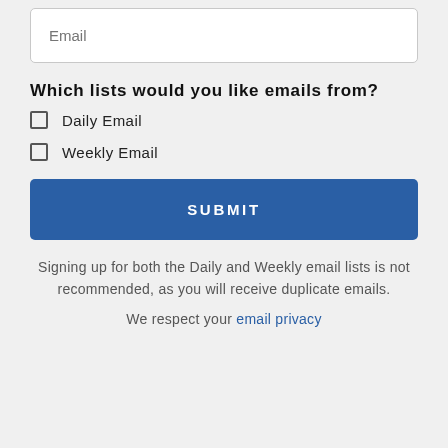Email
Which lists would you like emails from?
Daily Email
Weekly Email
SUBMIT
Signing up for both the Daily and Weekly email lists is not recommended, as you will receive duplicate emails.
We respect your email privacy